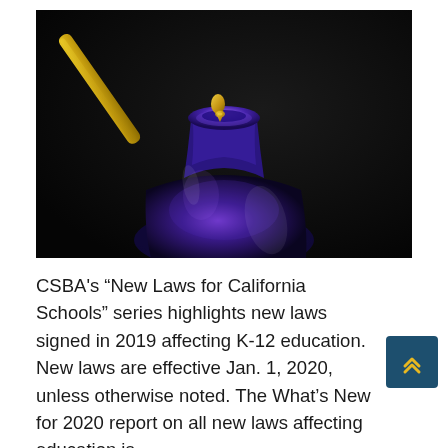[Figure (photo): Close-up photo of a yellow glass dropper above a dark blue glass bottle on a black background. A drop of golden liquid is forming at the tip of the dropper, hovering over the open neck of the blue bottle.]
CSBA's “New Laws for California Schools” series highlights new laws signed in 2019 affecting K-12 education. New laws are effective Jan. 1, 2020, unless otherwise noted. The What’s New for 2020 report on all new laws affecting education is